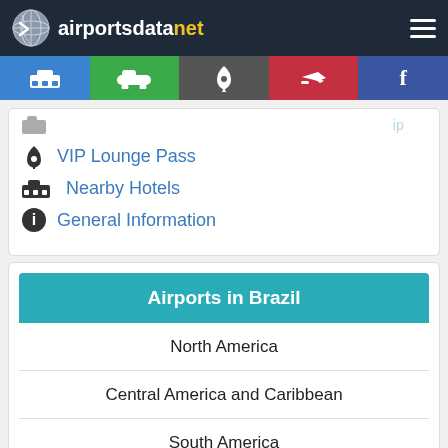airportsdatanet
VIP Lounge Pass
Nearby Hotels
General Information
Airports in Brazil
North America
Central America and Caribbean
South America
Europe